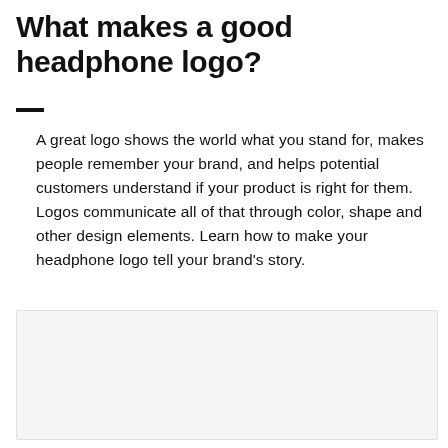What makes a good headphone logo?
A great logo shows the world what you stand for, makes people remember your brand, and helps potential customers understand if your product is right for them. Logos communicate all of that through color, shape and other design elements. Learn how to make your headphone logo tell your brand’s story.
[Figure (other): Empty light gray image box placeholder]